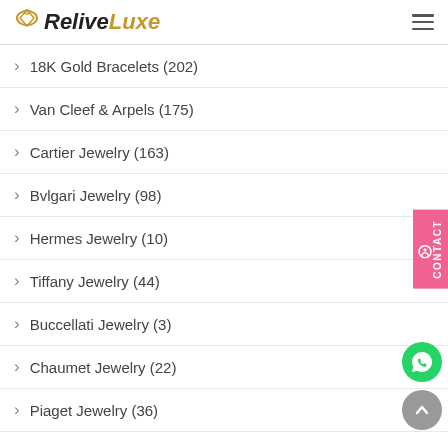ReliveLuxe
18K Gold Bracelets (202)
Van Cleef & Arpels (175)
Cartier Jewelry (163)
Bvlgari Jewelry (98)
Hermes Jewelry (10)
Tiffany Jewelry (44)
Buccellati Jewelry (3)
Chaumet Jewelry (22)
Piaget Jewelry (36)
Chopard Jewelry (12)